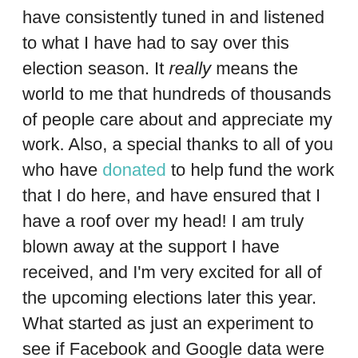have consistently tuned in and listened to what I have had to say over this election season. It really means the world to me that hundreds of thousands of people care about and appreciate my work. Also, a special thanks to all of you who have donated to help fund the work that I do here, and have ensured that I have a roof over my head! I am truly blown away at the support I have received, and I'm very excited for all of the upcoming elections later this year. What started as just an experiment to see if Facebook and Google data were useful in predicting elections has blossomed into something much bigger, and, in my opinion, we are witnessing the birth of an entirely new methodology of predicting elections; one that will be more powerful in the future than we could have ever imagined.
-Tyler